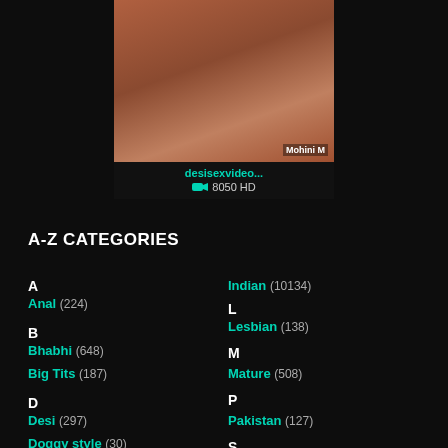[Figure (photo): Thumbnail image of adult video content with watermark 'Mohini M']
desisexvideo... 8050 HD
A-Z CATEGORIES
A
Anal (224)
B
Bhabhi (648)
Big Tits (187)
D
Desi (297)
Doggy style (?)
Indian (10134)
L
Lesbian (138)
M
Mature (508)
P
Pakistan (127)
S